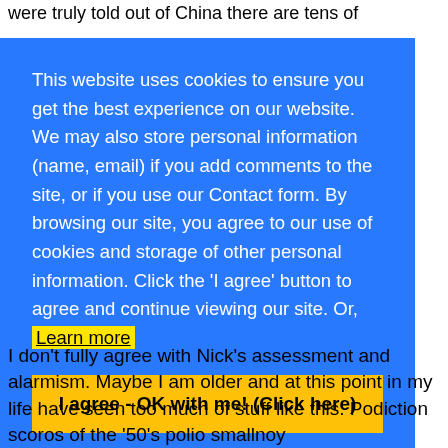were truly told out of China there are tens of
This website uses cookies to ensure you get the best experience on our website. We may also store personal information (name, email) if you add comments to the site, or if you use our Contact form. By browsing our site, you agree to our use of cookies and storage of other personal information. Click the 'I agree' button to agree and continue viewing our site. Or, Learn more
I agree - OK with me! (Click here)
I don't fully agree with Nick's assessment and alarmism. Maybe I am older and at this point in my life have seen too much of stuff like this. Podiction scoros of the '50's polio smallnoy